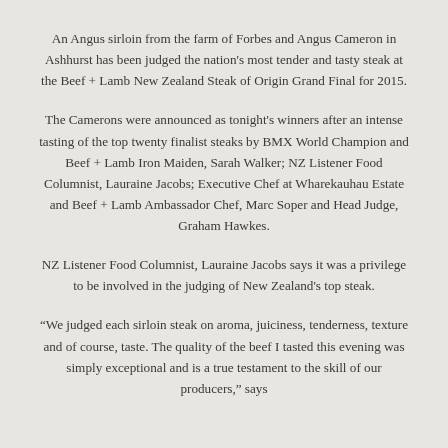An Angus sirloin from the farm of Forbes and Angus Cameron in Ashhurst has been judged the nation's most tender and tasty steak at the Beef + Lamb New Zealand Steak of Origin Grand Final for 2015.
The Camerons were announced as tonight's winners after an intense tasting of the top twenty finalist steaks by BMX World Champion and Beef + Lamb Iron Maiden, Sarah Walker; NZ Listener Food Columnist, Lauraine Jacobs; Executive Chef at Wharekauhau Estate and Beef + Lamb Ambassador Chef, Marc Soper and Head Judge, Graham Hawkes.
NZ Listener Food Columnist, Lauraine Jacobs says it was a privilege to be involved in the judging of New Zealand's top steak.
“We judged each sirloin steak on aroma, juiciness, tenderness, texture and of course, taste. The quality of the beef I tasted this evening was simply exceptional and is a true testament to the skill of our producers,” says